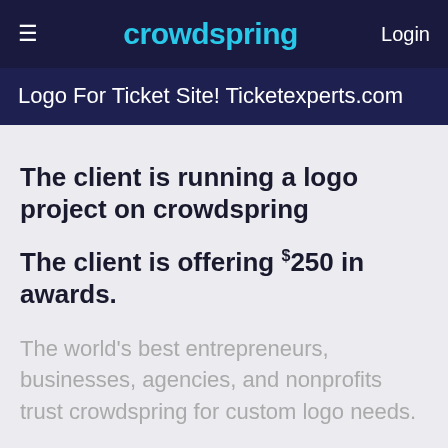crowdspring  Login
Logo For Ticket Site! Ticketexperts.com
The client is running a logo project on crowdspring
The client is offering $250 in awards.
The world's best entrepreneurs, businesses, agencies, and nonprofits trust crowdspring for custom logo needs.
Get your own custom logo